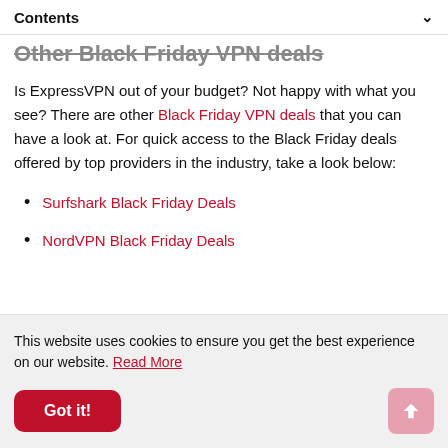Contents
Other Black Friday VPN deals
Is ExpressVPN out of your budget? Not happy with what you see? There are other Black Friday VPN deals that you can have a look at. For quick access to the Black Friday deals offered by top providers in the industry, take a look below:
Surfshark Black Friday Deals
NordVPN Black Friday Deals
This website uses cookies to ensure you get the best experience on our website. Read More